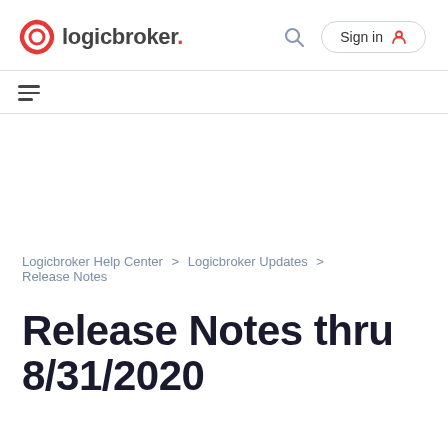[Figure (logo): Logicbroker logo with red gear/cog icon and logicbroker wordmark]
Sign in
☰ (hamburger menu icon)
Logicbroker Help Center > Logicbroker Updates > Release Notes
Release Notes thru 8/31/2020